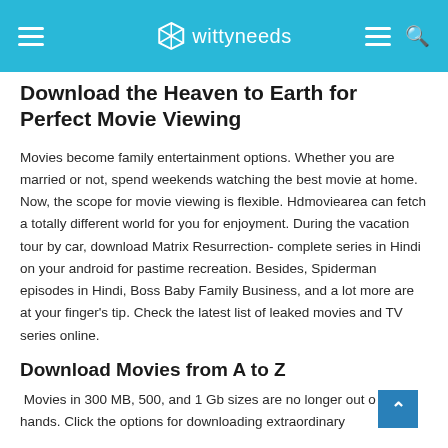wittyneeds
Download the Heaven to Earth for Perfect Movie Viewing
Movies become family entertainment options. Whether you are married or not, spend weekends watching the best movie at home. Now, the scope for movie viewing is flexible. Hdmoviearea can fetch a totally different world for you for enjoyment. During the vacation tour by car, download Matrix Resurrection- complete series in Hindi on your android for pastime recreation. Besides, Spiderman episodes in Hindi, Boss Baby Family Business, and a lot more are at your finger's tip. Check the latest list of leaked movies and TV series online.
Download Movies from A to Z
Movies in 300 MB, 500, and 1 Gb sizes are no longer out of your hands. Click the options for downloading extraordinary